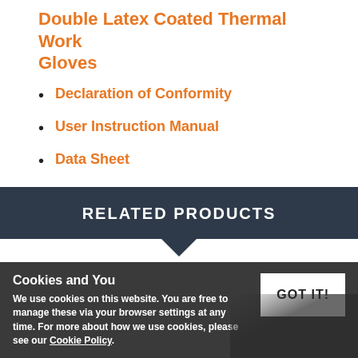Double Latex Coated Thermal Work Gloves
Declaration of Conformity
User Instruction Manual
Data Sheet
RELATED PRODUCTS
Cookies and You
We use cookies on this website. You are free to manage these via your browser settings at any time. For more about how we use cookies, please see our Cookie Policy.